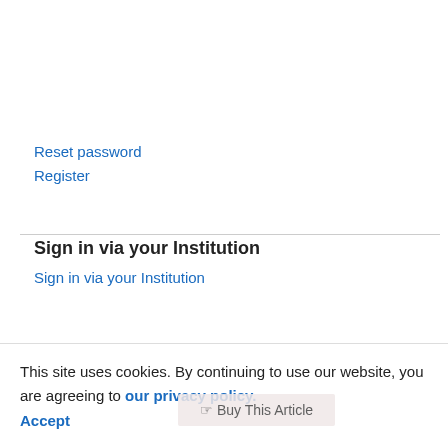Reset password
Register
Sign in via your Institution
Sign in via your Institution
This site uses cookies. By continuing to use our website, you are agreeing to our privacy policy. Accept